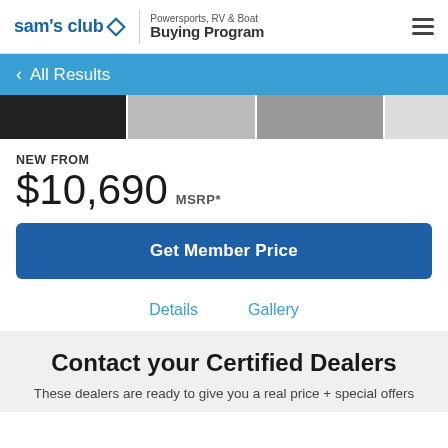sam's club — Powersports, RV & Boat Buying Program
< All Results
[Figure (photo): Thumbnail image strip showing vehicle photos]
NEW FROM
$10,690 MSRP*
Get Member Price
Details    Gallery
Contact your Certified Dealers
These dealers are ready to give you a real price + special offers